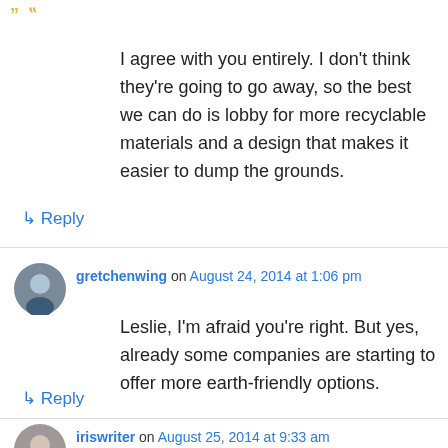I agree with you entirely. I don't think they're going to go away, so the best we can do is lobby for more recyclable materials and a design that makes it easier to dump the grounds.
↳ Reply
gretchenwing on August 24, 2014 at 1:06 pm
Leslie, I'm afraid you're right. But yes, already some companies are starting to offer more earth-friendly options.
↳ Reply
iriswriter on August 25, 2014 at 9:33 am